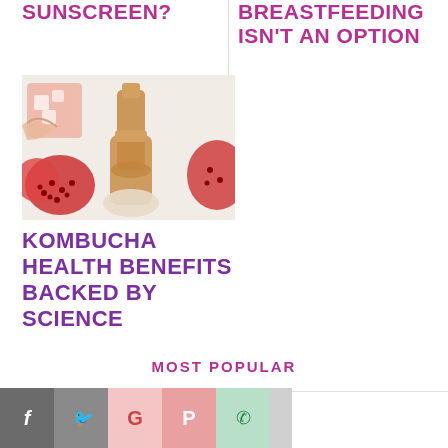SUNSCREEN?
BREASTFEEDING ISN'T AN OPTION
[Figure (photo): Top-down view of kombucha bottle, pomegranate halves, and a glass with ice being touched by a hand, on a white surface]
KOMBUCHA HEALTH BENEFITS BACKED BY SCIENCE
MOST POPULAR
[Figure (infographic): Social sharing icons row: Facebook (f), Twitter (bird), Google (G), Pinterest (P), WhatsApp, and another icon, followed by a partial photo on the right]